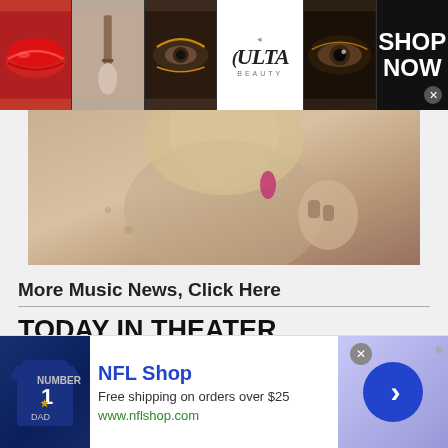[Figure (advertisement): Ulta Beauty advertisement banner with makeup images (lips, brush, smoky eyes) and ULTA logo, with SHOP NOW call to action]
[Figure (photo): Close-up photo of a blonde woman with dramatic makeup, jewelry, and dark nails touching her neck/chest area — part of Ulta Beauty ad]
More Music News, Click Here
TODAY IN THEATER
Camille A. Brown Makes Broadway History With Her Work as a Choreographer and Director
[Figure (advertisement): NFL Shop advertisement with jersey image, blue arrow circle, text: NFL Shop, Free shipping on orders over $25, www.nflshop.com]